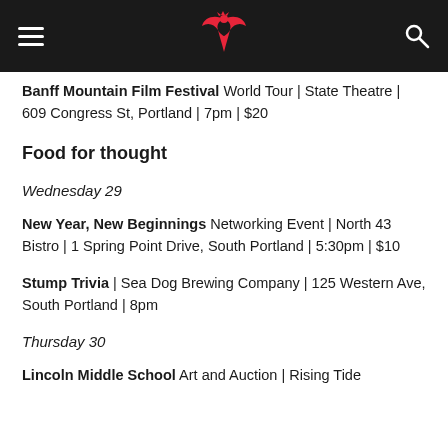Banff Mountain Film Festival World Tour | State Theatre | 609 Congress St, Portland | 7pm | $20
Food for thought
Wednesday 29
New Year, New Beginnings Networking Event | North 43 Bistro | 1 Spring Point Drive, South Portland | 5:30pm | $10
Stump Trivia | Sea Dog Brewing Company | 125 Western Ave, South Portland | 8pm
Thursday 30
Lincoln Middle School Art and Auction | Rising Tide